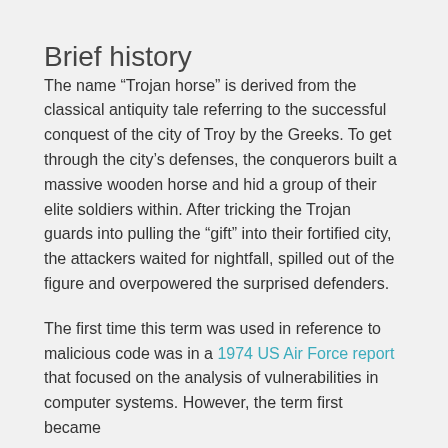Brief history
The name “Trojan horse” is derived from the classical antiquity tale referring to the successful conquest of the city of Troy by the Greeks. To get through the city’s defenses, the conquerors built a massive wooden horse and hid a group of their elite soldiers within. After tricking the Trojan guards into pulling the “gift” into their fortified city, the attackers waited for nightfall, spilled out of the figure and overpowered the surprised defenders.
The first time this term was used in reference to malicious code was in a 1974 US Air Force report that focused on the analysis of vulnerabilities in computer systems. However, the term first became